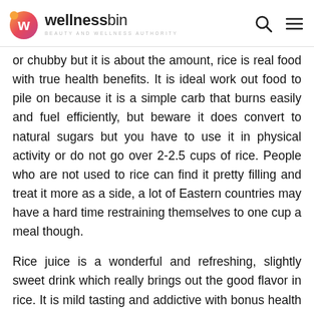wellnessbin — BEAUTY AND WELLNESS AUTHORITY
or chubby but it is about the amount, rice is real food with true health benefits. It is ideal work out food to pile on because it is a simple carb that burns easily and fuel efficiently, but beware it does convert to natural sugars but you have to use it in physical activity or do not go over 2-2.5 cups of rice. People who are not used to rice can find it pretty filling and treat it more as a side, a lot of Eastern countries may have a hard time restraining themselves to one cup a meal though.
Rice juice is a wonderful and refreshing, slightly sweet drink which really brings out the good flavor in rice. It is mild tasting and addictive with bonus health benefits. It is best served chilled or quite hot